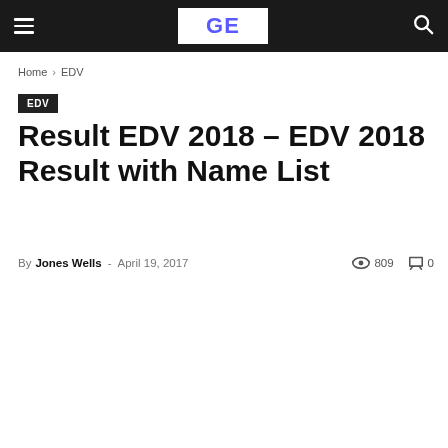GE
Home › EDV
EDV
Result EDV 2018 – EDV 2018 Result with Name List
By Jones Wells - April 19, 2017   809   0